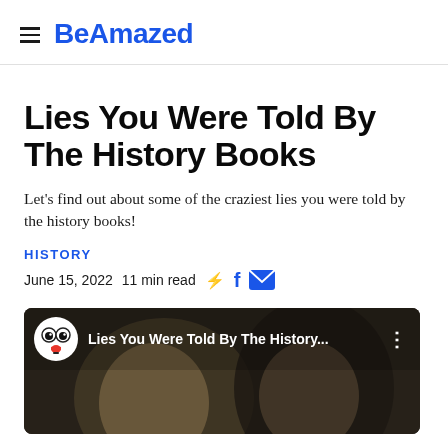≡  BeAmazed
Lies You Were Told By The History Books
Let's find out about some of the craziest lies you were told by the history books!
HISTORY
June 15, 2022  11 min read  ⚡  f  ✉
[Figure (screenshot): Video thumbnail showing BeAmazed logo and title 'Lies You Were Told By The History...' with two historical figures' faces visible in the background]